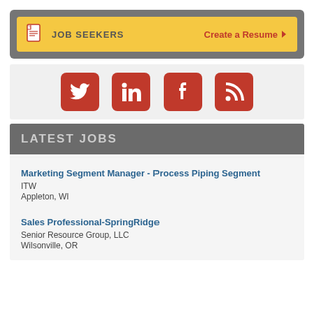[Figure (infographic): JOB SEEKERS panel with yellow background showing document icon, 'JOB SEEKERS' label, and 'Create a Resume' link with arrow, inside a dark gray rounded container]
[Figure (infographic): Social media icons row: Twitter, LinkedIn, Facebook, RSS feed — all in dark red/orange on rounded square buttons, on light gray background]
LATEST JOBS
Marketing Segment Manager - Process Piping Segment
ITW
Appleton, WI
Sales Professional-SpringRidge
Senior Resource Group, LLC
Wilsonville, OR